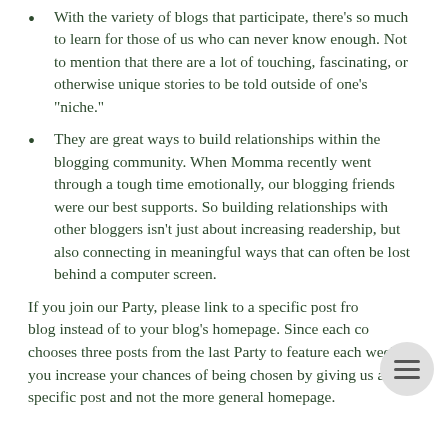With the variety of blogs that participate, there's so much to learn for those of us who can never know enough. Not to mention that there are a lot of touching, fascinating, or otherwise unique stories to be told outside of one's "niche."
They are great ways to build relationships within the blogging community. When Momma recently went through a tough time emotionally, our blogging friends were our best supports. So building relationships with other bloggers isn't just about increasing readership, but also connecting in meaningful ways that can often be lost behind a computer screen.
If you join our Party, please link to a specific post from your blog instead of to your blog's homepage. Since each co-host chooses three posts from the last Party to feature each week - you increase your chances of being chosen by giving us a specific post and not the more general homepage.